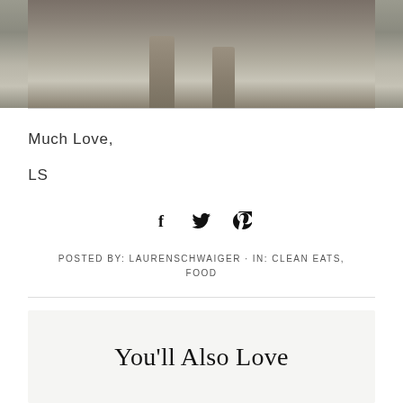[Figure (photo): Bottom portion of a photo showing two legs wearing tall gray/olive boots standing on a light carpet floor]
Much Love,
LS
[Figure (infographic): Social sharing icons: Facebook (f), Twitter (bird), Pinterest (p)]
POSTED BY: LAURENSCHWAIGER · IN: CLEAN EATS, FOOD
You'll Also Love